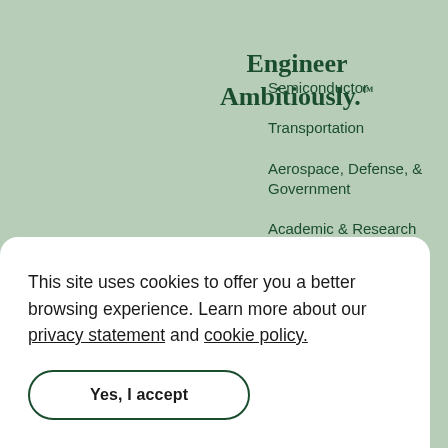Engineer Ambitiously.™
Semiconductor
Transportation
Aerospace, Defense, & Government
Academic & Research
Electronics
This site uses cookies to offer you a better browsing experience. Learn more about our privacy statement and cookie policy.
Yes, I accept